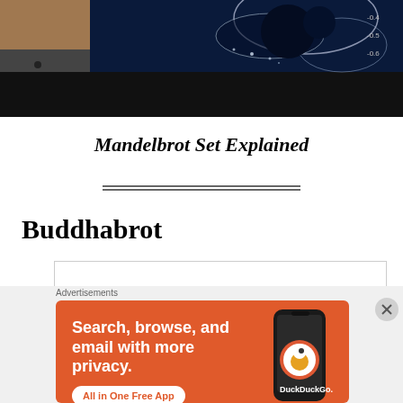[Figure (photo): Top portion of a webpage showing a cropped thumbnail image of a man on the left and a fractal/Mandelbrot set visualization on the right with a dark background and black bar below]
Mandelbrot Set Explained
Buddhabrot
[Figure (screenshot): Partial content box from webpage below the Buddhabrot heading]
Advertisements
[Figure (photo): DuckDuckGo advertisement banner with orange background showing 'Search, browse, and email with more privacy. All in One Free App' with a phone image and DuckDuckGo logo]